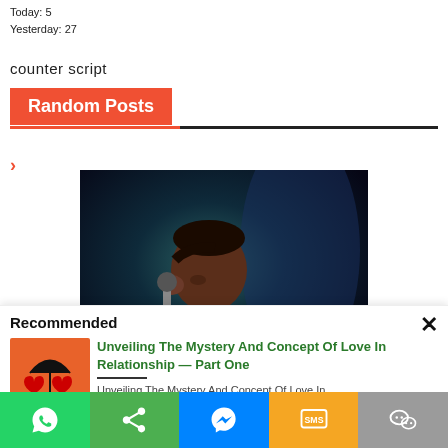Today: 5
Yesterday: 27
counter script
Random Posts
[Figure (photo): A man holding a microphone, praying or performing on stage with dark blue background]
Recommended
[Figure (illustration): Two cartoon red hearts under a black umbrella on orange/red background]
Unveiling The Mystery And Concept Of Love In Relationship — Part One
Unveiling The Mystery And Concept Of Love In
[Figure (infographic): Bottom share bar with WhatsApp, Share, Messenger, SMS, WeChat buttons]